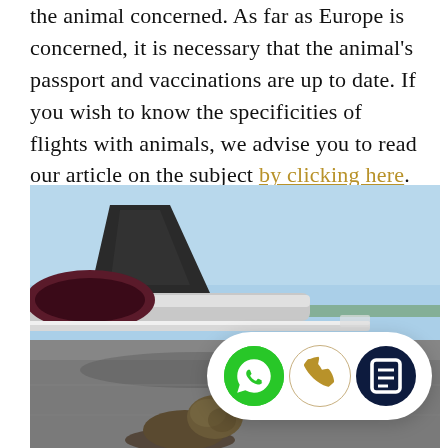the animal concerned. As far as Europe is concerned, it is necessary that the animal's passport and vaccinations are up to date. If you wish to know the specificities of flights with animals, we advise you to read our article on the subject by clicking here.
[Figure (photo): A dog on an airport tarmac in front of a private jet tail section, with taxiway and sky visible. A UI overlay bar with WhatsApp, phone, and document icons appears at the bottom right.]